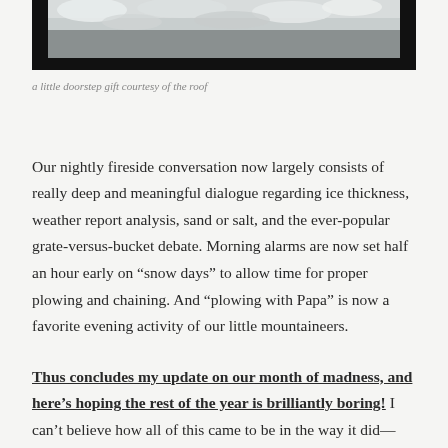[Figure (photo): A photo showing snow viewed from inside through a doorway or window frame, with dark frame edges visible and white snow visible beyond.]
a little doorstep gift courtesy of the roof
Our nightly fireside conversation now largely consists of really deep and meaningful dialogue regarding ice thickness, weather report analysis, sand or salt, and the ever-popular grate-versus-bucket debate. Morning alarms are now set half an hour early on “snow days” to allow time for proper plowing and chaining. And “plowing with Papa” is now a favorite evening activity of our little mountaineers.
Thus concludes my update on our month of madness, and here’s hoping the rest of the year is brilliantly boring! I can’t believe how all of this came to be in the way it did—and yet I can.